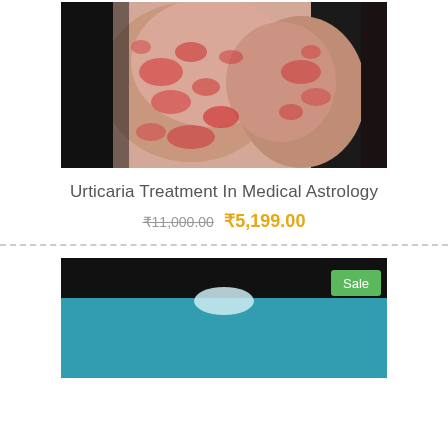[Figure (photo): Close-up photograph of arms/skin showing urticaria (hives) rash — red, raised welts on pale skin against dark background.]
Urticaria Treatment In Medical Astrology
₹11,000.00 ₹5,199.00
[Figure (screenshot): Second product image partially visible — teal/blue background with black bar at top and a green 'Sale' badge in the upper right corner.]